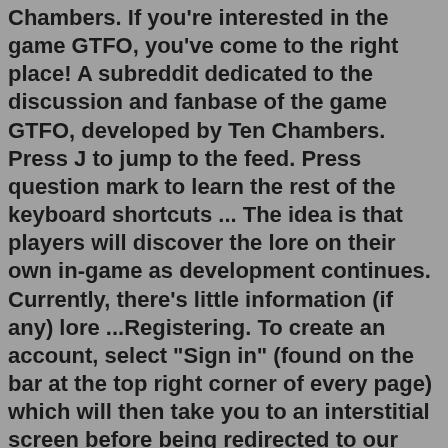Chambers. If you're interested in the game GTFO, you've come to the right place! A subreddit dedicated to the discussion and fanbase of the game GTFO, developed by Ten Chambers. Press J to jump to the feed. Press question mark to learn the rest of the keyboard shortcuts ... The idea is that players will discover the lore on their own in-game as development continues. Currently, there's little information (if any) lore ...Registering. To create an account, select "Sign in" (found on the bar at the top right corner of every page) which will then take you to an interstitial screen before being redirected to our main site (www.gamepedia.com). Once there, you will have the option to "Login or Create an Account" which is done via Twitch.Resistance is a science-fiction horror series of first-person shooter and third-person shooter video games developed by Insomniac Games and published by Sony Computer Entertainment for the PlayStation 3, PlayStation Portable and PlayStation Vita game consoles. The